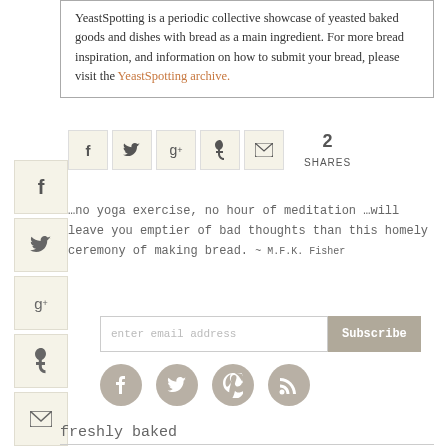YeastSpotting is a periodic collective showcase of yeasted baked goods and dishes with bread as a main ingredient. For more bread inspiration, and information on how to submit your bread, please visit the YeastSpotting archive.
[Figure (infographic): Social share icons row: Facebook, Twitter, Google+, Pinterest, Email. Shows 2 SHARES count.]
…no yoga exercise, no hour of meditation …will leave you emptier of bad thoughts than this homely ceremony of making bread. ~ M.F.K. Fisher
[Figure (infographic): Email subscribe input field with Subscribe button]
[Figure (infographic): Social media icons row: Facebook, Twitter, Pinterest, RSS]
freshly baked
[Figure (photo): Bread photo left]
[Figure (photo): Bread photo right]